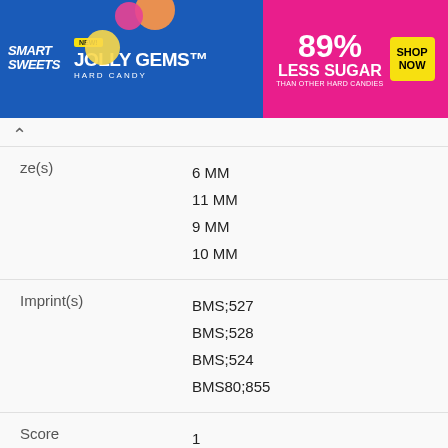[Figure (other): SmartSweets Jolly Gems advertisement banner — blue and pink background, candy imagery, '89% Less Sugar than other hard candies', Shop Now button]
| Field | Value |
| --- | --- |
| ze(s) | 6 MM
11 MM
9 MM
10 MM |
| Imprint(s) | BMS;527
BMS;528
BMS;524
BMS80;855 |
| Score | 1 |